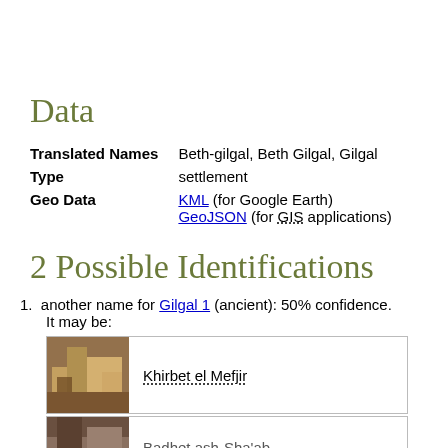Data
| Field | Value |
| --- | --- |
| Translated Names | Beth-gilgal, Beth Gilgal, Gilgal |
| Type | settlement |
| Geo Data | KML (for Google Earth)
GeoJSON (for GIS applications) |
2 Possible Identifications
another name for Gilgal 1 (ancient): 50% confidence. It may be:
[Figure (photo): Photo of Khirbet el Mefjir archaeological site]
Khirbet el Mefjir
[Figure (photo): Photo of Badhet ash-Sha'ab archaeological site]
Badhet ash-Sha'ab